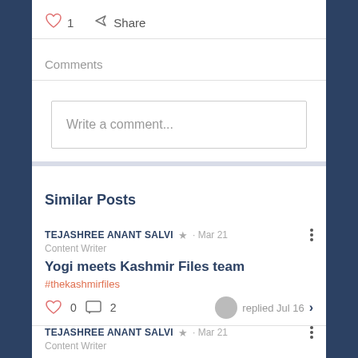♡ 1   Share
Comments
Write a comment...
Similar Posts
TEJASHREE ANANT SALVI ★ · Mar 21
Content Writer
Yogi meets Kashmir Files team
#thekashmirfiles
♡ 0  💬 2  replied Jul 16 >
TEJASHREE ANANT SALVI ★ · Mar 21
Content Writer